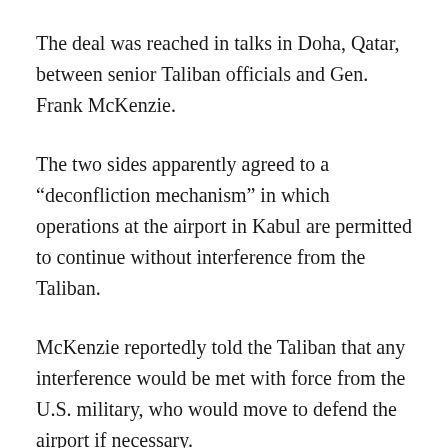The deal was reached in talks in Doha, Qatar, between senior Taliban officials and Gen. Frank McKenzie.
The two sides apparently agreed to a “deconfliction mechanism” in which operations at the airport in Kabul are permitted to continue without interference from the Taliban.
McKenzie reportedly told the Taliban that any interference would be met with force from the U.S. military, who would move to defend the airport if necessary.